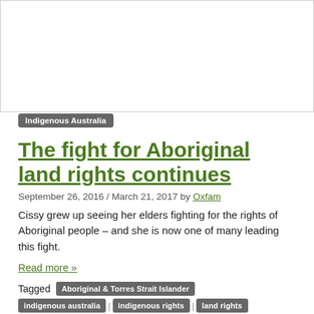[Figure (photo): Empty white image area with border at top of page]
Indigenous Australia
The fight for Aboriginal land rights continues
September 26, 2016 / March 21, 2017 by Oxfam
Cissy grew up seeing her elders fighting for the rights of Aboriginal people – and she is now one of many leading this fight.
Read more »
Tagged Aboriginal & Torres Strait Islander | indigenous australia | indigenous rights | land rights